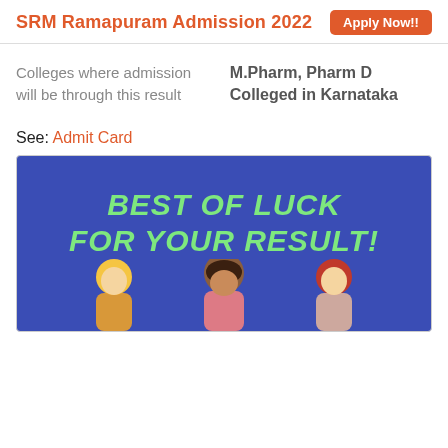SRM Ramapuram Admission 2022  Apply Now!!
Colleges where admission will be through this result
M.Pharm, Pharm D Colleged in Karnataka
See: Admit Card
[Figure (illustration): Banner image with blue background showing 'BEST OF LUCK FOR YOUR RESULT!' in bold green italic text, with cartoon figures of students at the bottom.]